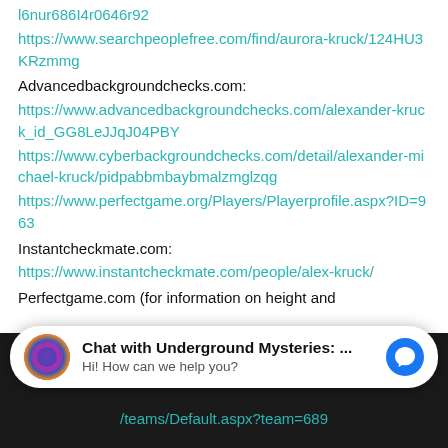l6nur686I4r0646r92
https://www.searchpeoplefree.com/find/aurora-kruck/124HU3KRzmmg
Advancedbackgroundchecks.com:
https://www.advancedbackgroundchecks.com/alexander-kruck_id_GG8LeJJqJ04PBY
https://www.cyberbackgroundchecks.com/detail/alexander-michael-kruck/pidpabbmbaybmalzmglzqg
https://www.perfectgame.org/Players/Playerprofile.aspx?ID=963
Instantcheckmate.com:
https://www.instantcheckmate.com/people/alex-kruck/
Perfectgame.com (for information on height and
Chat with Underground Mysteries: ...
Hi! How can we help you?
/teams/Default.aspx?team=689